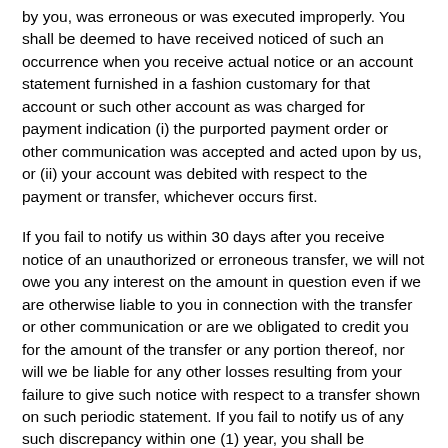by you, was erroneous or was executed improperly. You shall be deemed to have received noticed of such an occurrence when you receive actual notice or an account statement furnished in a fashion customary for that account or such other account as was charged for payment indication (i) the purported payment order or other communication was accepted and acted upon by us, or (ii) your account was debited with respect to the payment or transfer, whichever occurs first.
If you fail to notify us within 30 days after you receive notice of an unauthorized or erroneous transfer, we will not owe you any interest on the amount in question even if we are otherwise liable to you in connection with the transfer or other communication or are we obligated to credit you for the amount of the transfer or any portion thereof, nor will we be liable for any other losses resulting from your failure to give such notice with respect to a transfer shown on such periodic statement. If you fail to notify us of any such discrepancy within one (1) year, you shall be precluded from asserting such discrepancy against us.